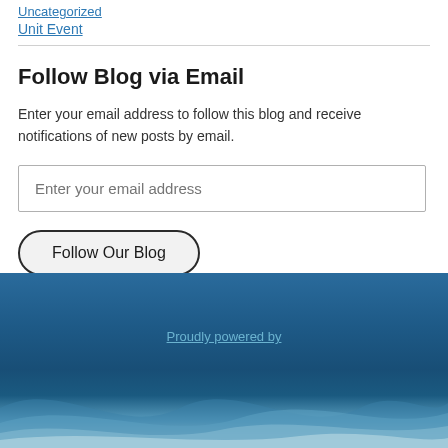Uncategorized
Unit Event
Follow Blog via Email
Enter your email address to follow this blog and receive notifications of new posts by email.
Enter your email address
Follow Our Blog
[Figure (photo): Blue water/ocean image used as footer background with a partially visible link text overlay]